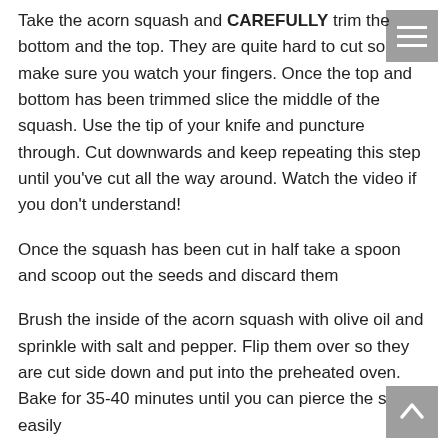Take the acorn squash and CAREFULLY trim the bottom and the top. They are quite hard to cut so make sure you watch your fingers. Once the top and bottom has been trimmed slice the middle of the squash. Use the tip of your knife and puncture through. Cut downwards and keep repeating this step until you've cut all the way around. Watch the video if you don't understand!
Once the squash has been cut in half take a spoon and scoop out the seeds and discard them
Brush the inside of the acorn squash with olive oil and sprinkle with salt and pepper. Flip them over so they are cut side down and put into the preheated oven. Bake for 35-40 minutes until you can pierce the skin easily
In a small pan add the quinoa and chicken stock and